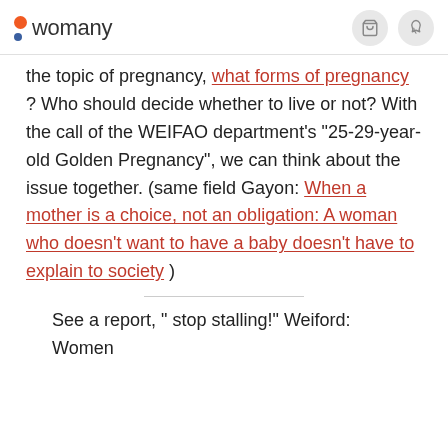womany
the topic of pregnancy, what forms of pregnancy ? Who should decide whether to live or not? With the call of the WEIFAO department's "25-29-year-old Golden Pregnancy", we can think about the issue together. (same field Gayon: When a mother is a choice, not an obligation: A woman who doesn't want to have a baby doesn't have to explain to society )
See a report, " stop stalling!" Weiford: Women